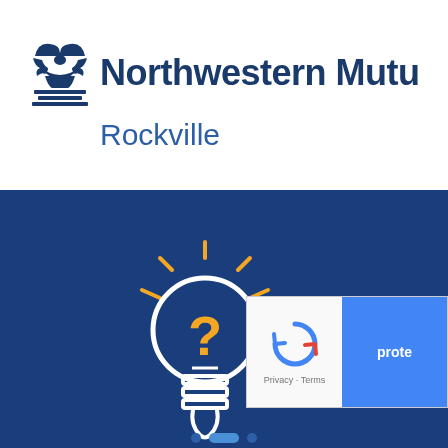[Figure (logo): Northwestern Mutual logo with decorative column capital icon and text 'Northwestern Mutu' (partially cropped), followed by 'Rockville' subtitle]
[Figure (illustration): Light bulb with a question mark inside, glowing with rays, on a dark blue background. A reCAPTCHA widget is partially visible in the lower right corner showing 'prote' text, reCAPTCHA icon, and 'Privacy · Terms'.]